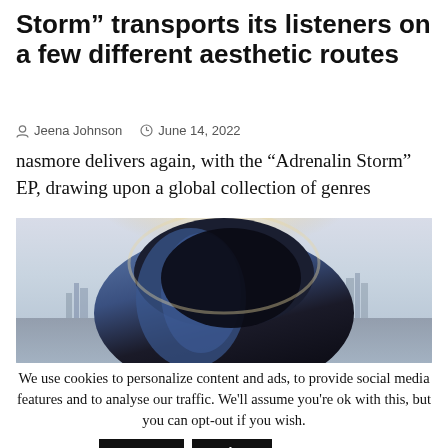Storm” transports its listeners on a few different aesthetic routes
Jeena Johnson   June 14, 2022
nasmore delivers again, with the “Adrenalin Storm” EP, drawing upon a global collection of genres
[Figure (photo): A person with blue hair photographed from behind against a bright, hazy outdoor background with city silhouettes in the distance.]
We use cookies to personalize content and ads, to provide social media features and to analyse our traffic. We'll assume you're ok with this, but you can opt-out if you wish. Accept Reject Read More